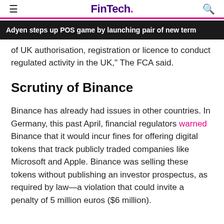FinTech.
Adyen steps up POS game by launching pair of new term
of UK authorisation, registration or licence to conduct regulated activity in the UK," The FCA said.
Scrutiny of Binance
Binance has already had issues in other countries. In Germany, this past April, financial regulators warned Binance that it would incur fines for offering digital tokens that track publicly traded companies like Microsoft and Apple. Binance was selling these tokens without publishing an investor prospectus, as required by law—a violation that could invite a penalty of 5 million euros ($6 million).